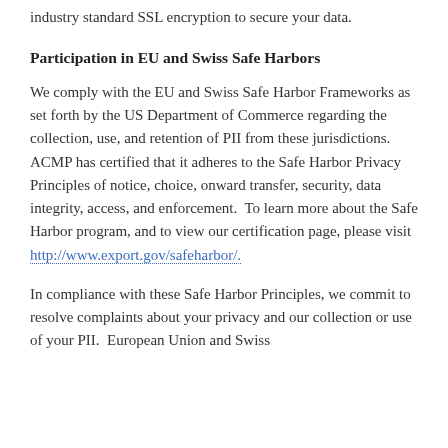industry standard SSL encryption to secure your data.
Participation in EU and Swiss Safe Harbors
We comply with the EU and Swiss Safe Harbor Frameworks as set forth by the US Department of Commerce regarding the collection, use, and retention of PII from these jurisdictions.  ACMP has certified that it adheres to the Safe Harbor Privacy Principles of notice, choice, onward transfer, security, data integrity, access, and enforcement.  To learn more about the Safe Harbor program, and to view our certification page, please visit http://www.export.gov/safeharbor/.
In compliance with these Safe Harbor Principles, we commit to resolve complaints about your privacy and our collection or use of your PII.  European Union and Swiss